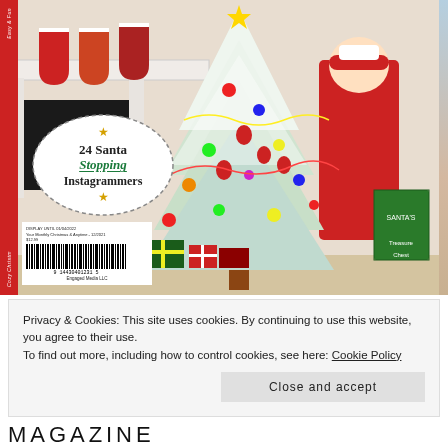[Figure (photo): Magazine cover showing a heavily decorated flocked Christmas tree with Santa ornaments, stockings hung on a fireplace mantle, wrapped presents underneath, a Santa Claus figure, and a book titled Santa's Treasure Chest. An oval badge reads '24 Santa Stopping Instagrammers'. A barcode and publisher name 'Engaged Media LLC' appear at the bottom left. A red sidebar runs along the left edge.]
Privacy & Cookies: This site uses cookies. By continuing to use this website, you agree to their use.
To find out more, including how to control cookies, see here: Cookie Policy
Close and accept
MAGAZINE